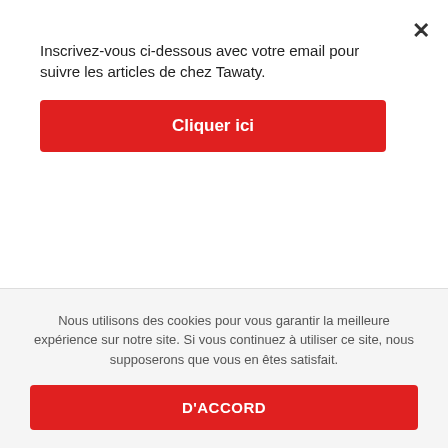Inscrivez-vous ci-dessous avec votre email pour suivre les articles de chez Tawaty.
Cliquer ici
daddyhunt hookup site
daddyhunt siteyi buradan ziyaret edin
daddyhunt-inceleme review
DAF visitors
Nous utilisons des cookies pour vous garantir la meilleure expérience sur notre site. Si vous continuez à utiliser ce site, nous supposerons que vous en êtes satisfait.
D'ACCORD